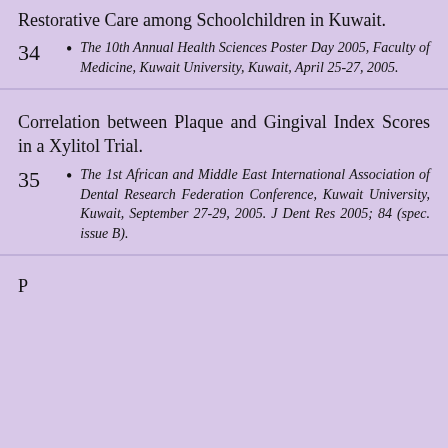Restorative Care among Schoolchildren in Kuwait.
34  The 10th Annual Health Sciences Poster Day 2005, Faculty of Medicine, Kuwait University, Kuwait, April 25-27, 2005.
Correlation between Plaque and Gingival Index Scores in a Xylitol Trial.
35  The 1st African and Middle East International Association of Dental Research Federation Conference, Kuwait University, Kuwait, September 27-29, 2005. J Dent Res 2005; 84 (spec. issue B).
P...